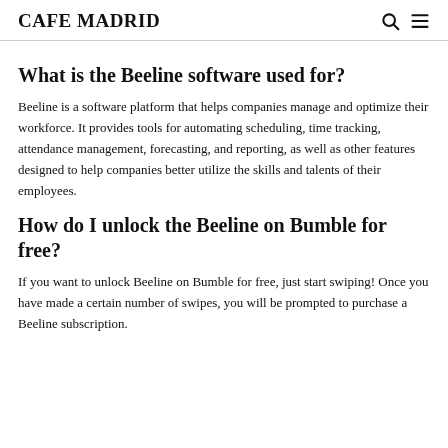CAFE MADRID
What is the Beeline software used for?
Beeline is a software platform that helps companies manage and optimize their workforce. It provides tools for automating scheduling, time tracking, attendance management, forecasting, and reporting, as well as other features designed to help companies better utilize the skills and talents of their employees.
How do I unlock the Beeline on Bumble for free?
If you want to unlock Beeline on Bumble for free, just start swiping! Once you have made a certain number of swipes, you will be prompted to purchase a Beeline subscription.